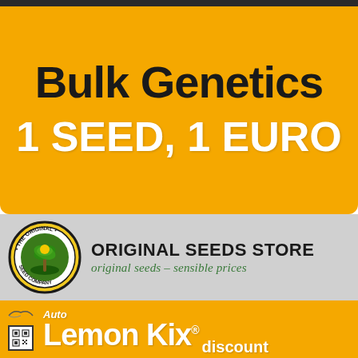Bulk Genetics
1 SEED, 1 EURO
[Figure (logo): Original Seed Company circular logo with green and yellow plant design, black border with text 'THE ORIGINAL SEED COMPANY']
ORIGINAL SEEDS STORE
original seeds - sensible prices
[Figure (infographic): Auto Lemon Kix product banner in orange with fruit imagery, seagull icon, QR code, and 'discount' text visible]